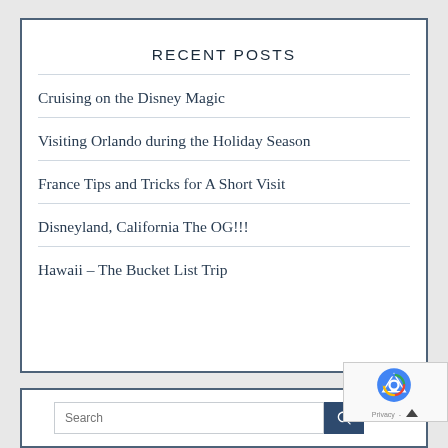RECENT POSTS
Cruising on the Disney Magic
Visiting Orlando during the Holiday Season
France Tips and Tricks for A Short Visit
Disneyland, California The OG!!!
Hawaii – The Bucket List Trip
Search